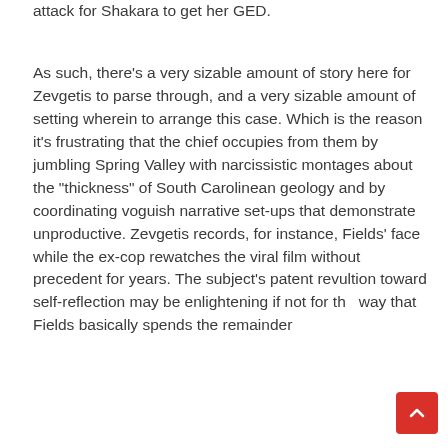attack for Shakara to get her GED.
As such, there’s a very sizable amount of story here for Zevgetis to parse through, and a very sizable amount of setting wherein to arrange this case. Which is the reason it’s frustrating that the chief occupies from them by jumbling Spring Valley with narcissistic montages about the “thickness” of South Carolinean geology and by coordinating voguish narrative set-ups that demonstrate unproductive. Zevgetis records, for instance, Fields’ face while the ex-cop rewatches the viral film without precedent for years. The subject’s patent revultion toward self-reflection may be enlightening if not for the way that Fields basically spends the remainder